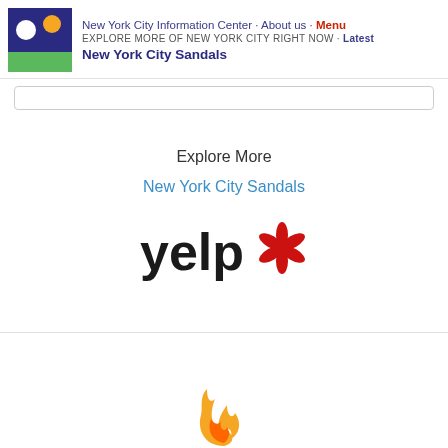New York City Information Center · About us · Menu
EXPLORE MORE OF NEW YORK CITY RIGHT NOW · Latest
New York City Sandals
Explore More
New York City Sandals
[Figure (logo): Yelp logo with red burst/star icon]
[Figure (illustration): Orange flame icon]